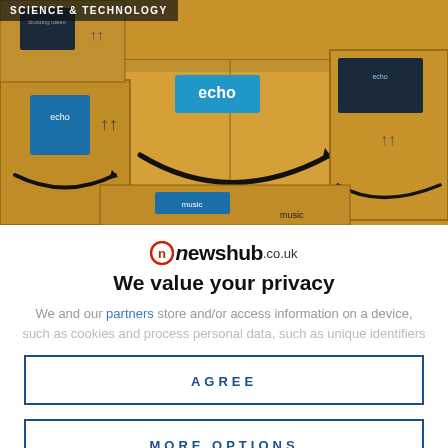[Figure (photo): Photo of stacked Amazon cardboard boxes with Amazon Echo branding and smile logo visible, with a 'SCIENCE & TECHNOLOGY' category label overlay in the top-left corner]
SCIENCE & TECHNOLOGY
We value your privacy
We and our partners store and/or access information on a device, such as cookies and process personal data, such as unique identifiers
AGREE
MORE OPTIONS